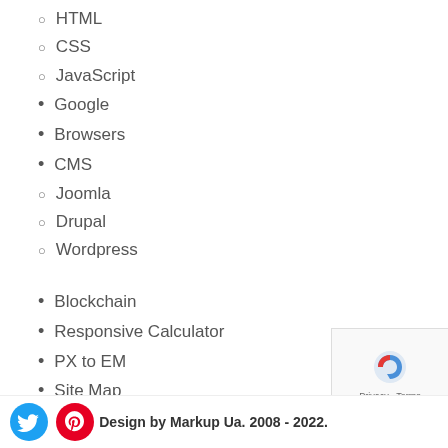HTML
CSS
JavaScript
Google
Browsers
CMS
Joomla
Drupal
Wordpress
Blockchain
Responsive Calculator
PX to EM
Site Map
Contact Us
Donate for All Markup News
Design by Markup Ua. 2008 - 2022.